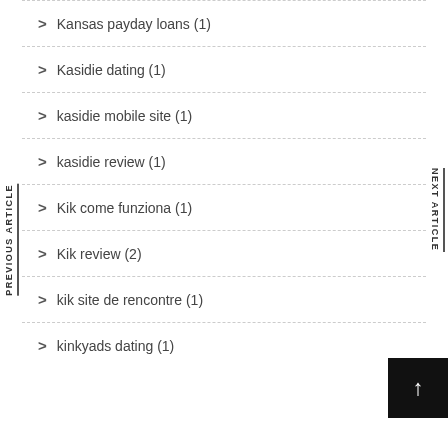Kansas payday loans (1)
Kasidie dating (1)
kasidie mobile site (1)
kasidie review (1)
Kik come funziona (1)
Kik review (2)
kik site de rencontre (1)
kinkyads dating (1)